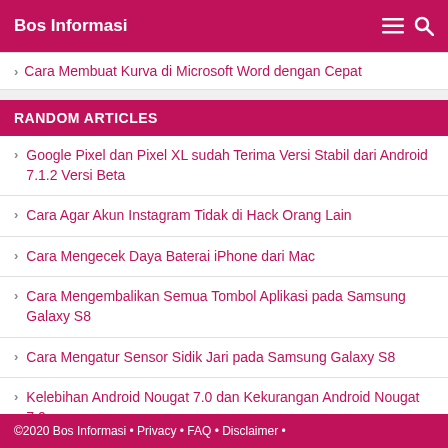Bos Informasi
Cara Membuat Kurva di Microsoft Word dengan Cepat
RANDOM ARTICLES
Google Pixel dan Pixel XL sudah Terima Versi Stabil dari Android 7.1.2 Versi Beta
Cara Agar Akun Instagram Tidak di Hack Orang Lain
Cara Mengecek Daya Baterai iPhone dari Mac
Cara Mengembalikan Semua Tombol Aplikasi pada Samsung Galaxy S8
Cara Mengatur Sensor Sidik Jari pada Samsung Galaxy S8
Kelebihan Android Nougat 7.0 dan Kekurangan Android Nougat 7.0
©2020 Bos Informasi • Privacy • FAQ • Disclaimer •